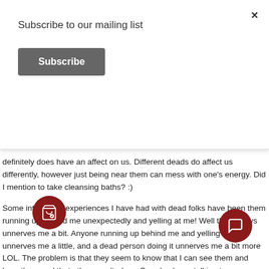Subscribe to our mailing list
Subscribe
definitely does have an affect on us. Different deads do affect us differently, however just being near them can mess with one's energy. Did I mention to take cleansing baths? :)
Some interesting experiences I have had with dead folks have been them running up behind me unexpectedly and yelling at me! Well that always unnerves me a bit. Anyone running up behind me and yelling at me unnerves me a little, and a dead person doing it unnerves me a bit more LOL. The problem is that they seem to know that I can see them and hear them and that others can't, darn. One day I was talking to someone at a bus stop, he had lost his wife a few years before and had become quite [obscured]. He had redecorated his truck with pgos and sayings abou[obscured] all over it. Sort of like those trucks that you see wi[obscured] christi[obscured]ings all over them, well this one had information a[obscured] wife. He was telling me all about his wife. Well his wife was there [(obscured)was